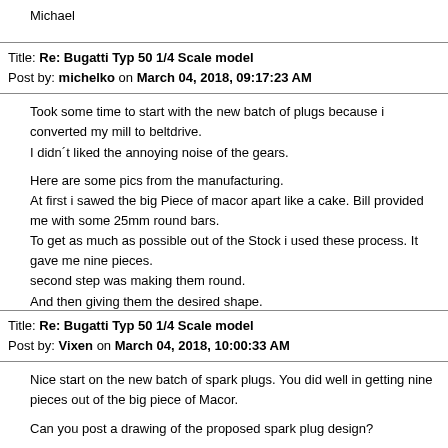Michael
Title: Re: Bugatti Typ 50 1/4 Scale model
Post by: michelko on March 04, 2018, 09:17:23 AM
Took some time to start with the new batch of plugs because i converted my mill to beltdrive.
I didn´t liked the annoying noise of the gears.

Here are some pics from the manufacturing.
At first i sawed the big Piece of macor apart like a cake. Bill provided me with some 25mm round bars.
To get as much as possible out of the Stock i used these process. It gave me nine pieces.
second step was making them round.
And then giving them the desired shape.
Title: Re: Bugatti Typ 50 1/4 Scale model
Post by: Vixen on March 04, 2018, 10:00:33 AM
Nice start on the new batch of spark plugs. You did well in getting nine pieces out of the big piece of Macor.

Can you post a drawing of the proposed spark plug design?